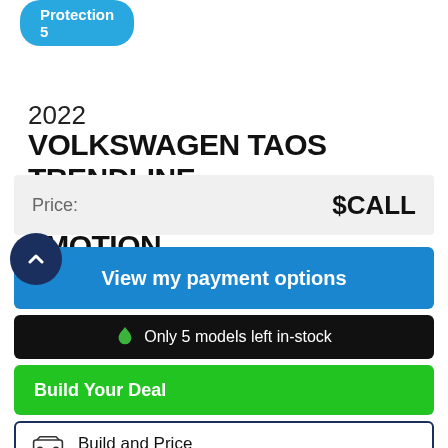Protection 5
2022 VOLKSWAGEN TAOS TRENDLINE 4DR ALL-WHEEL DRIVE 4MOTION
Price: $CALL
View my payment options
Only 5 models left in-stock
Build Your Deal
Build and Price
View Incentives